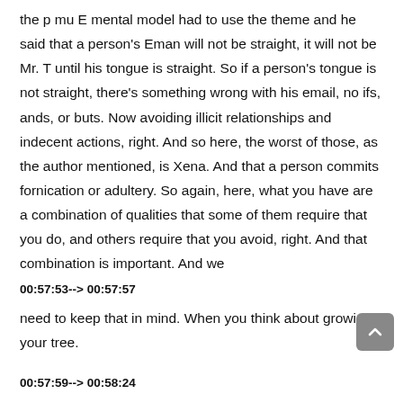the p mu E mental model had to use the theme and he said that a person's Eman will not be straight, it will not be Mr. T until his tongue is straight. So if a person's tongue is not straight, there's something wrong with his email, no ifs, ands, or buts. Now avoiding illicit relationships and indecent actions, right. And so here, the worst of those, as the author mentioned, is Xena. And that a person commits fornication or adultery. So again, here, what you have are a combination of qualities that some of them require that you do, and others require that you avoid, right. And that combination is important. And we
00:57:53--> 00:57:57
need to keep that in mind. When you think about growing your tree.
00:57:59--> 00:58:24